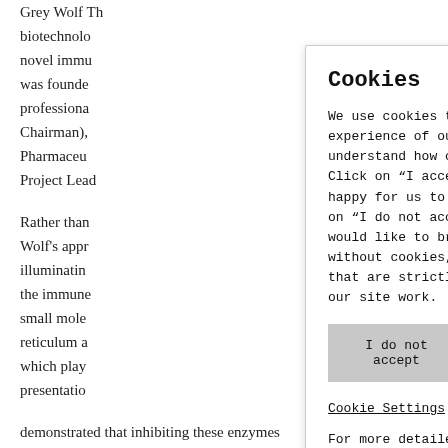Grey Wolf Th... biotechnolo... novel immu... was founde... professiona... Chairman),... Pharmaceut... Project Leac... Rather than... Wolf's appr... illuminatin... the immune... small mole... reticulum a... which play... presentatio... demonstrated that inhibiting these enzymes
Cookies
We use cookies to give you the best experience of our site and for us to understand how our site is used. Click on “I accept” below if you are happy for us to use cookies. Click on “I do not accept” below if you would like to browse the site without cookies, other than those that are strictly necessary to make our site work.
I do not accept | I Accept
Cookie Settings
For more detailed information about the cookies we use and how to change or disable or see our Cookie Policy.